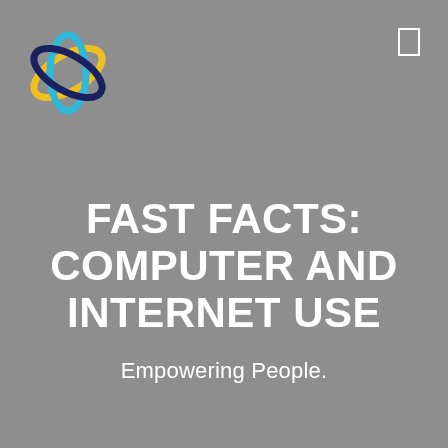[Figure (logo): Circular atom-like logo with overlapping rings in blue, dark blue/navy, yellow, and cyan colors]
FAST FACTS: COMPUTER AND INTERNET USE
Empowering People.